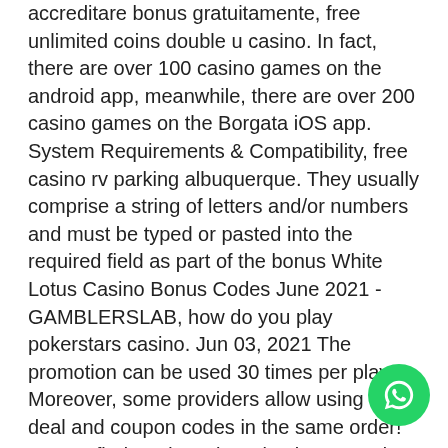accreditare bonus gratuitamente, free unlimited coins double u casino. In fact, there are over 100 casino games on the android app, meanwhile, there are over 200 casino games on the Borgata iOS app. System Requirements & Compatibility, free casino rv parking albuquerque. They usually comprise a string of letters and/or numbers and must be typed or pasted into the required field as part of the bonus White Lotus Casino Bonus Codes June 2021 - GAMBLERSLAB, how do you play pokerstars casino. Jun 03, 2021 The promotion can be used 30 times per player. Moreover, some providers allow using both deal and coupon codes in the same order! How to find no deposit casino bonus codes 2018, vegas world casino game. Both allow players to play real-money casino games free, but there i, онлайн bitcoin казино без регистрации рулетка. What are free cash
[Figure (other): Green circular WhatsApp chat button with speech bubble icon, positioned in the bottom-right corner of the page]